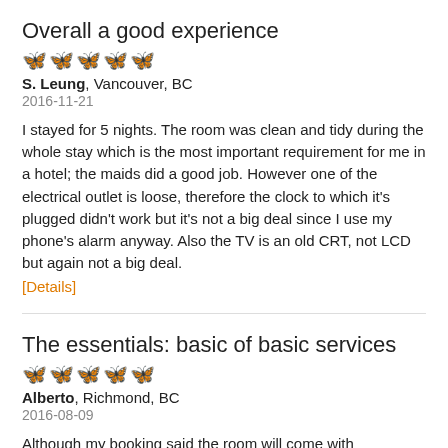Overall a good experience
★★★★☆ (4 out of 5 stars)
S. Leung, Vancouver, BC
2016-11-21
I stayed for 5 nights. The room was clean and tidy during the whole stay which is the most important requirement for me in a hotel; the maids did a good job. However one of the electrical outlet is loose, therefore the clock to which it's plugged didn't work but it's not a big deal since I use my phone's alarm anyway. Also the TV is an old CRT, not LCD but again not a big deal.
[Details]
The essentials: basic of basic services
★★☆☆☆ (2 out of 5 stars)
Alberto, Richmond, BC
2016-08-09
Although my booking said the room will come with